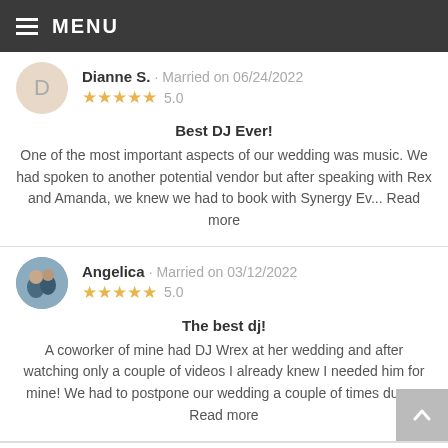MENU
Dianne S. · Married on 06/24/2022 ★★★★★ 5.0
Best DJ Ever!
One of the most important aspects of our wedding was music. We had spoken to another potential vendor but after speaking with Rex and Amanda, we knew we had to book with Synergy Ev... Read more
Angelica · Married on 03/12/2022 ★★★★★ 5.0
The best dj!
A coworker of mine had DJ Wrex at her wedding and after watching only a couple of videos I already knew I needed him for mine! We had to postpone our wedding a couple of times due ... Read more
Melissa F. · Married on 10/02/2021